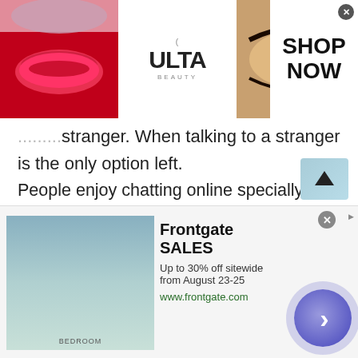[Figure (screenshot): Top advertisement banner for ULTA Beauty with makeup imagery, logo, and SHOP NOW call to action]
...stranger. When talking to a stranger is the only option left.
People enjoy chatting online specially people of Denmark love to talk with strangers. Luckily, we have websites like Talkwithstranger where one can chat with people of Denmark or any other country through anonymous chat online.Chat lovers usually connect and meet new people online because man is a social animal they love to chat with people of Denmark. A person must socialize to prosper in the
[Figure (screenshot): Bottom advertisement for Frontgate SALES - Up to 30% off sitewide from August 23-25, www.frontgate.com, with bedroom image and navigation arrow]